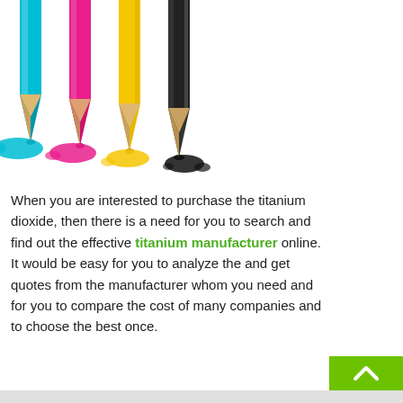[Figure (illustration): Four CMYK colored pencils (cyan, magenta, yellow, black) arranged in a fan, with colored ink/paint pooling at the bottom tips, on a white background.]
When you are interested to purchase the titanium dioxide, then there is a need for you to search and find out the effective titanium manufacturer online. It would be easy for you to analyze the and get quotes from the manufacturer whom you need and for you to compare the cost of many companies and to choose the best once.